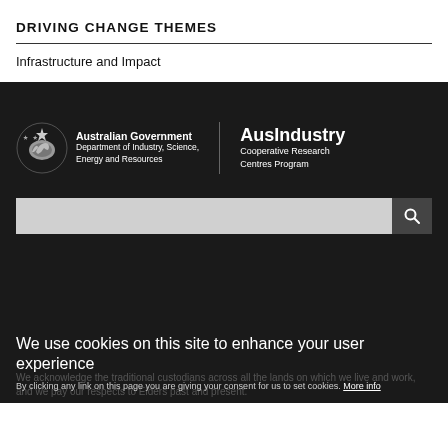DRIVING CHANGE THEMES
Infrastructure and Impact
[Figure (logo): Australian Government Department of Industry, Science, Energy and Resources logo alongside AusIndustry Cooperative Research Centres Program logo on dark background]
We use cookies on this site to enhance your user experience
By clicking any link on this page you are giving your consent for us to set cookies. More info
We acknowledge the traditional custodians across all the lands on which we live and work, and we pay our respects to Elders past and present.